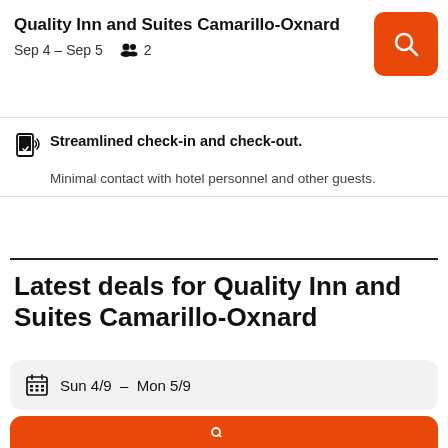Quality Inn and Suites Camarillo-Oxnard
Sep 4 – Sep 5   👥 2
Streamlined check-in and check-out. Minimal contact with hotel personnel and other guests.
Latest deals for Quality Inn and Suites Camarillo-Oxnard
Sun 4/9 – Mon 5/9
1 room, 2 guests